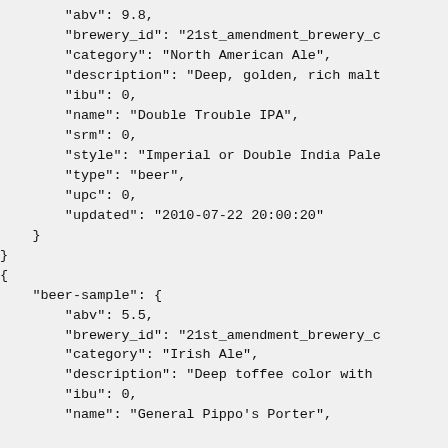JSON code snippet showing beer database records with fields: abv, brewery_id, category, description, ibu, name, srm, style, type, upc, updated for Double Trouble IPA entry closing braces, then new object with beer-sample key containing abv: 5.5, brewery_id, category: Irish Ale, description, ibu, name: General Pippo's Porter